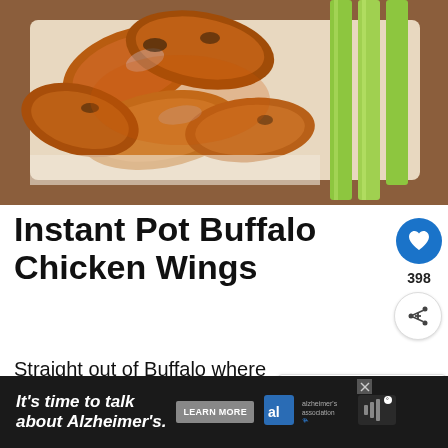[Figure (photo): Close-up photograph of glazed buffalo chicken wings on a white plate with celery sticks, shot from above on a wooden surface]
Instant Pot Buffalo Chicken Wings
Straight out of Buffalo where the Buffalo Wings originated! Instant Pot Buffalo Chicken Wings made simple in an Instant Pot without the fry.
[Figure (other): WHAT'S NEXT banner showing Instant Pot Breakfast thumbnail]
[Figure (other): Advertisement banner: It's time to talk about Alzheimer's. LEARN MORE. Alzheimer's association logo.]